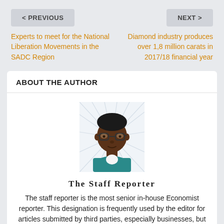< PREVIOUS
NEXT >
Experts to meet for the National Liberation Movements in the SADC Region
Diamond industry produces over 1,8 million carats in 2017/18 financial year
ABOUT THE AUTHOR
[Figure (illustration): Illustrated avatar of a dark-skinned male with glasses and teal jacket, cartoon style with radiating lines in background]
The Staff Reporter
The staff reporter is the most senior in-house Economist reporter. This designation is frequently used by the editor for articles submitted by third parties, especially businesses, but which had to be rewritten